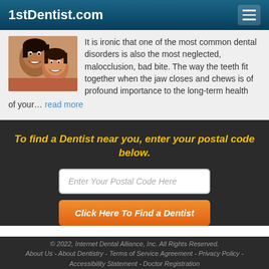1stDentist.com
It is ironic that one of the most common dental disorders is also the most neglected, malocclusion, bad bite. The way the teeth fit together when the jaw closes and chews is of profound importance to the long-term health of your... read more
To find a Dentist near you, enter your postal code below.
Enter Your Postal Code Here
Click Here To Find a Dentist
© 2022, Internet Dental Alliance, Inc. All Rights Reserved. About Us - About Dentistry - Terms of Service Agreement - Privacy Policy - Accessibility Statement - Doctor Registration